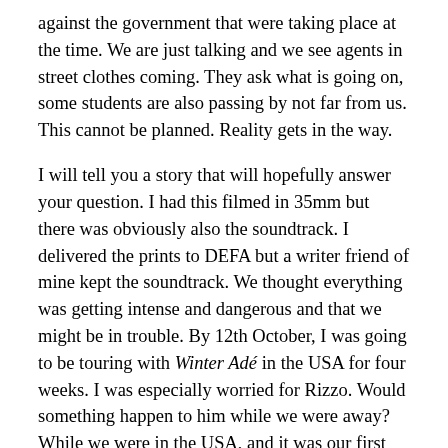against the government that were taking place at the time. We are just talking and we see agents in street clothes coming. They ask what is going on, some students are also passing by not far from us. This cannot be planned. Reality gets in the way.
I will tell you a story that will hopefully answer your question. I had this filmed in 35mm but there was obviously also the soundtrack. I delivered the prints to DEFA but a writer friend of mine kept the soundtrack. We thought everything was getting intense and dangerous and that we might be in trouble. By 12th October, I was going to be touring with Winter Adé in the USA for four weeks. I was especially worried for Rizzo. Would something happen to him while we were away? While we were in the USA, and it was our first time in the country and we were thrilled to be there, everything happened. It was a strange situation. We were worried about our kids and we did not know what was truly happening in the streets, what the development of the demonstrations was. We wanted to be a part of that, but we were very far away presenting our film. It was interesting to see this happening in the USA. All the radios, TV news and papers did not mention the GDR events in depth.